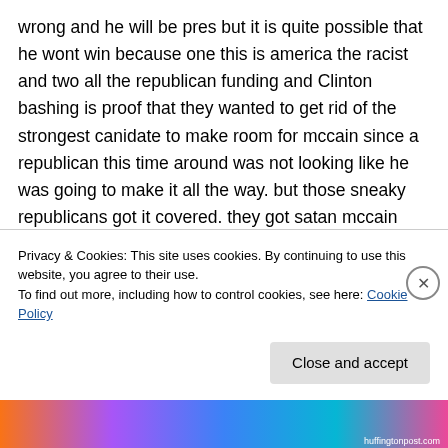wrong and he will be pres but it is quite possible that he wont win because one this is america the racist and two all the republican funding and Clinton bashing is proof that they wanted to get rid of the strongest canidate to make room for mccain since a republican this time around was not looking like he was going to make it all the way. but those sneaky republicans got it covered. they got satan mccain and barack their bitch. its a win win! good job republicans. and democrats. you bunch of sissy pushover losers
Privacy & Cookies: This site uses cookies. By continuing to use this website, you agree to their use.
To find out more, including how to control cookies, see here: Cookie Policy